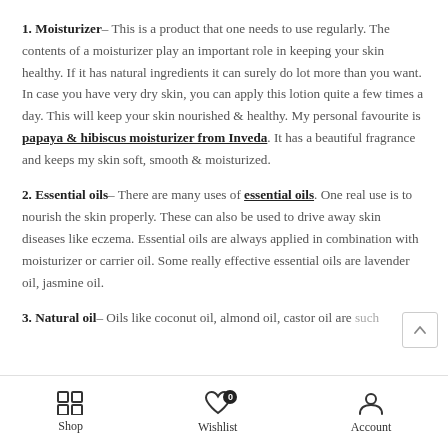1. Moisturizer – This is a product that one needs to use regularly. The contents of a moisturizer play an important role in keeping your skin healthy. If it has natural ingredients it can surely do lot more than you want. In case you have very dry skin, you can apply this lotion quite a few times a day. This will keep your skin nourished & healthy. My personal favourite is papaya & hibiscus moisturizer from Inveda. It has a beautiful fragrance and keeps my skin soft, smooth & moisturized.
2. Essential oils – There are many uses of essential oils. One real use is to nourish the skin properly. These can also be used to drive away skin diseases like eczema. Essential oils are always applied in combination with moisturizer or carrier oil. Some really effective essential oils are lavender oil, jasmine oil.
3. Natural oil – Oils like coconut oil, almond oil, castor oil are such …
Shop  Wishlist  Account